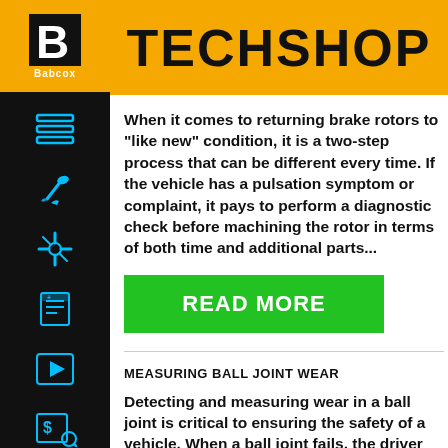TECHSHOP
When it comes to returning brake rotors to "like new" condition, it is a two-step process that can be different every time. If the vehicle has a pulsation symptom or complaint, it pays to perform a diagnostic check before machining the rotor in terms of both time and additional parts...
READ MORE
MEASURING BALL JOINT WEAR
Detecting and measuring wear in a ball joint is critical to ensuring the safety of a vehicle. When a ball joint fails, the driver loses control of the vehicle. This can result in damage not only to the suspension, but also the axle shafts, brakes and even the body.